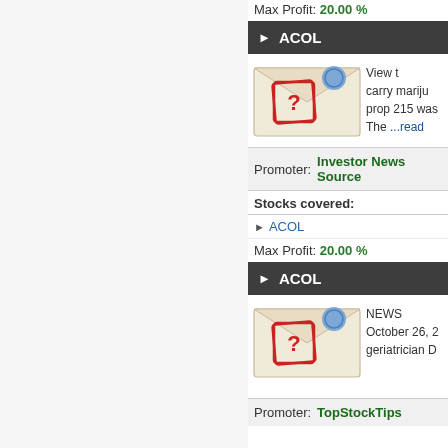Max Profit: 20.00 %
▶ ACOL
[Figure (illustration): Envelope with a red question mark stamp and blue wax seal]
View t carry mariju prop 215 wa The ...read
Promoter: Investor News Source
Stocks covered:
▸ ACOL
Max Profit: 20.00 %
▶ ACOL
[Figure (illustration): Envelope with a red question mark stamp and blue wax seal]
NEWS October 26, 2 geriatrician D
Promoter: TopStockTips